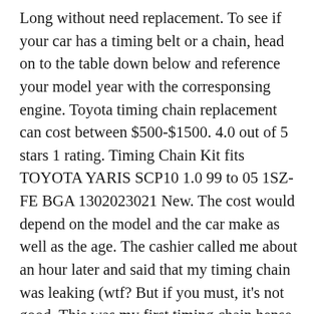Long without need replacement. To see if your car has a timing belt or a chain, head on to the table down below and reference your model year with the corresponsing engine. Toyota timing chain replacement can cost between $500-$1500. 4.0 out of 5 stars 1 rating. Timing Chain Kit fits TOYOTA YARIS SCP10 1.0 99 to 05 1SZ-FE BGA 1302023021 New. The cost would depend on the model and the car make as well as the age. The cashier called me about an hour later and said that my timing chain was leaking (wtf? But if you must, it's not good. This was my first timing chain hense why I did it on my beater car. Get a free quote today! While traditionally the timing belt has been preferred to a timing chain, manufacturers have made the switch to using timing chains in the past few